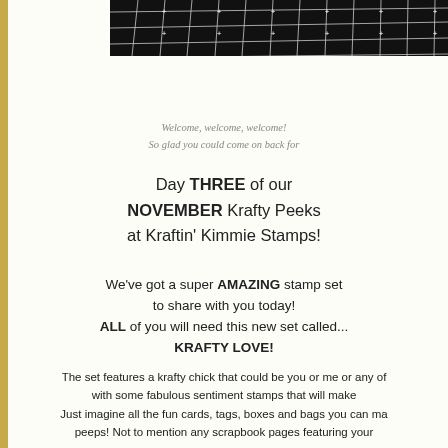[Figure (photo): Close-up photo of a black cutting mat or grid board with white grid lines and cross marks, cropped at top of page]
Welcome, welcome, welcome!
So glad you could come on back for
Day THREE of our
NOVEMBER Krafty Peeks
at Kraftin' Kimmie Stamps!
We've got a super AMAZING stamp set to share with you today!
ALL of you will need this new set called...
KRAFTY LOVE!
The set features a krafty chick that could be you or me or any of with some fabulous sentiment stamps that will make
Just imagine all the fun cards, tags, boxes and bags you can ma peeps! Not to mention any scrapbook pages featuring your